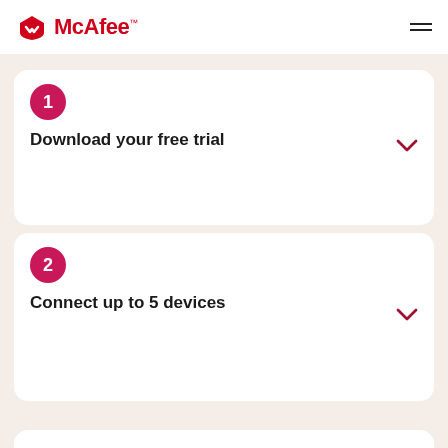McAfee™
1 Download your free trial
2 Connect up to 5 devices